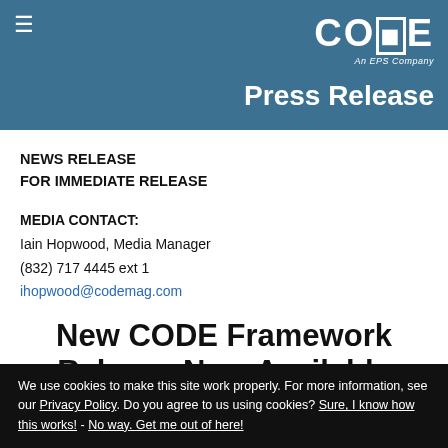CODE — An EPS Company | Press Release
Press Release
NEWS RELEASE
FOR IMMEDIATE RELEASE
MEDIA CONTACT:
Iain Hopwood, Media Manager
(832) 717 4445 ext 1
ihopwood@codemag.com
New CODE Framework Release Now Available
We use cookies to make this site work properly. For more information, see our Privacy Policy. Do you agree to us using cookies? Sure, I know how this works! - No way. Get me out of here!